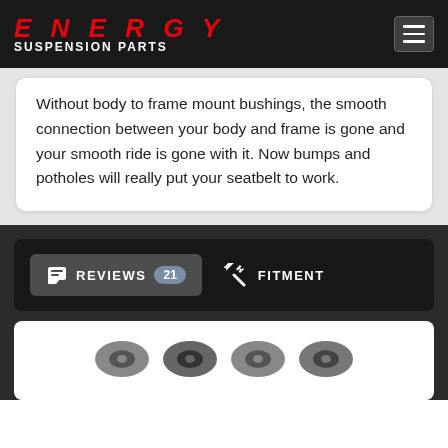ENERGY SUSPENSION PARTS
Without body to frame mount bushings, the smooth connection between your body and frame is gone and your smooth ride is gone with it. Now bumps and potholes will really put your seatbelt to work.
REVIEWS 21
FITMENT
[Figure (photo): Product images showing suspension bushings at the bottom of the page]